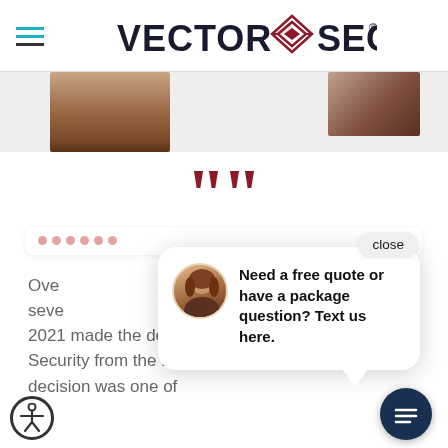[Figure (logo): Vector Security logo with red diamond/geometric icon and bold text]
[Figure (photo): Partial photos visible at top — left shows a brownish/wood scene, right shows a partially visible image]
[Figure (illustration): Large red double open-quote marks]
[Figure (screenshot): Chat popup overlay showing avatar of woman with brown hair, text: Need a free quote or have a package question? Text us here. With close button and navy chat icon button.]
Ove
seve
2021 made the decision to work with Vector Security from the Lancaster PA branch. That decision was one of